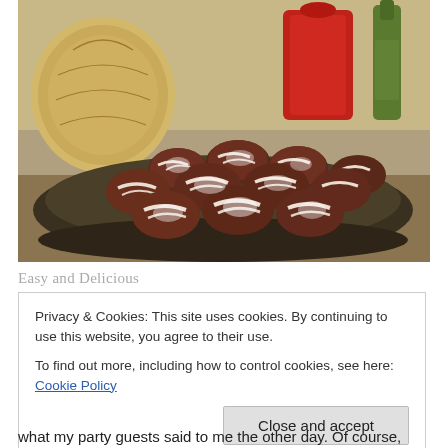[Figure (photo): A plate of chocolate crinkle cookies dusted with powdered sugar, piled on a dark plate. In the background are a cantaloupe melon, a red bag, and a bottle of oil on a counter.]
Easy and Delicious
Privacy & Cookies: This site uses cookies. By continuing to use this website, you agree to their use.
To find out more, including how to control cookies, see here: Cookie Policy
Close and accept
what my party guests said to me the other day. Of course,